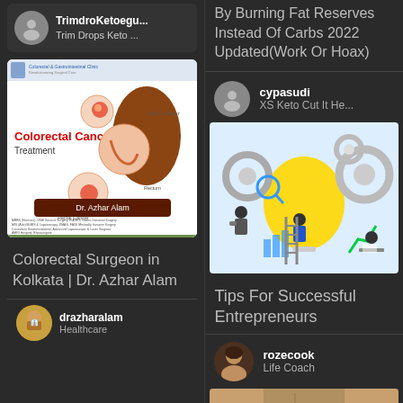TrimdroKetoegu...
Trim Drops Keto ...
[Figure (illustration): Medical illustration showing Colorectal Cancer Treatment by Dr. Azhar Alam, Consultant Gastroinstestinal, Advanced Laparoscopic & Laser Surgeon, AMRI Hospital, Bhawanipore]
Colorectal Surgeon in Kolkata | Dr. Azhar Alam
drazharalam
Healthcare
By Burning Fat Reserves Instead Of Carbs 2022 Updated(Work Or Hoax)
cypasudi
XS Keto Cut It He...
[Figure (illustration): Business concept illustration with light bulb, gears, people on ladder, bar charts and growth arrow representing entrepreneurship]
Tips For Successful Entrepreneurs
rozecook
Life Coach
[Figure (photo): Cropped photo of a person with toned abs wearing teal/turquoise shorts, with a $00 price badge overlay and Top navigation button]